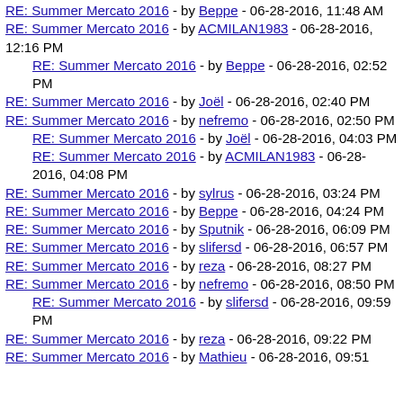RE: Summer Mercato 2016 - by Beppe - 06-28-2016, 11:48 AM
RE: Summer Mercato 2016 - by ACMILAN1983 - 06-28-2016, 12:16 PM
RE: Summer Mercato 2016 - by Beppe - 06-28-2016, 02:52 PM (indented)
RE: Summer Mercato 2016 - by Joël - 06-28-2016, 02:40 PM
RE: Summer Mercato 2016 - by nefremo - 06-28-2016, 02:50 PM
RE: Summer Mercato 2016 - by Joël - 06-28-2016, 04:03 PM (indented)
RE: Summer Mercato 2016 - by ACMILAN1983 - 06-28-2016, 04:08 PM (indented)
RE: Summer Mercato 2016 - by sylrus - 06-28-2016, 03:24 PM
RE: Summer Mercato 2016 - by Beppe - 06-28-2016, 04:24 PM
RE: Summer Mercato 2016 - by Sputnik - 06-28-2016, 06:09 PM
RE: Summer Mercato 2016 - by slifersd - 06-28-2016, 06:57 PM
RE: Summer Mercato 2016 - by reza - 06-28-2016, 08:27 PM
RE: Summer Mercato 2016 - by nefremo - 06-28-2016, 08:50 PM
RE: Summer Mercato 2016 - by slifersd - 06-28-2016, 09:59 PM (indented)
RE: Summer Mercato 2016 - by reza - 06-28-2016, 09:22 PM
RE: Summer Mercato 2016 - by Mathieu - 06-28-2016, 09:51 PM